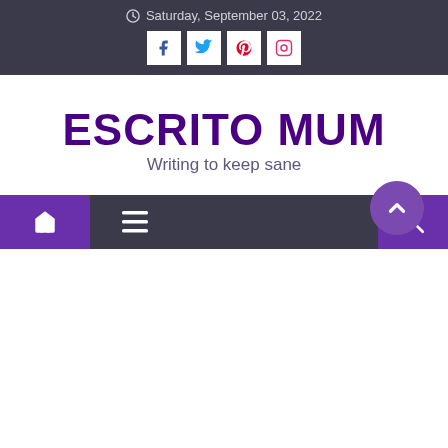Saturday, September 03, 2022
ESCRITO MUM
Writing to keep sane